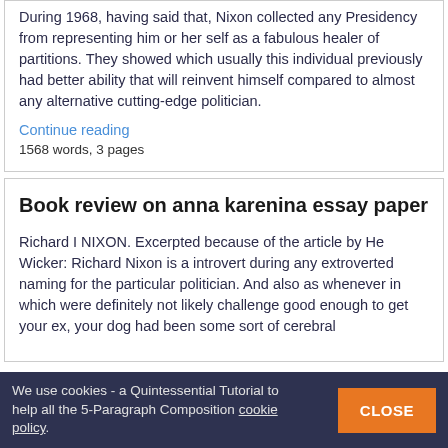During 1968, having said that, Nixon collected any Presidency from representing him or her self as a fabulous healer of partitions. They showed which usually this individual previously had better ability that will reinvent himself compared to almost any alternative cutting-edge politician.
Continue reading
1568 words, 3 pages
Book review on anna karenina essay paper
Richard I NIXON. Excerpted because of the article by He Wicker: Richard Nixon is a introvert during any extroverted naming for the particular politician. And also as whenever in which were definitely not likely challenge good enough to get your ex, your dog had been some sort of cerebral
We use cookies - a Quintessential Tutorial to help all the 5-Paragraph Composition cookie policy